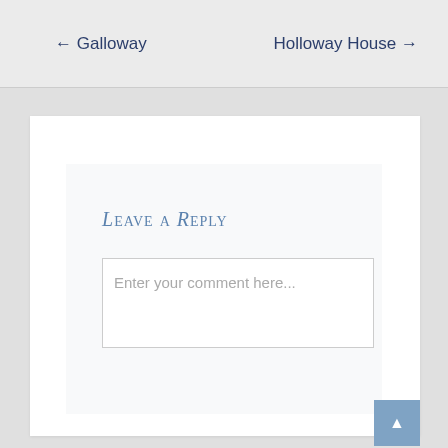← Galloway
Holloway House →
Leave a Reply
Enter your comment here...